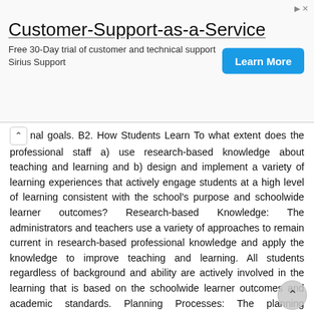[Figure (other): Advertisement banner: Customer-Support-as-a-Service. Free 30-Day trial of customer and technical support. Sirius Support. Learn More button.]
nal goals. B2. How Students Learn To what extent does the professional staff a) use research-based knowledge about teaching and learning and b) design and implement a variety of learning experiences that actively engage students at a high level of learning consistent with the school's purpose and schoolwide learner outcomes? Research-based Knowledge: The administrators and teachers use a variety of approaches to remain current in research-based professional knowledge and apply the knowledge to improve teaching and learning. All students regardless of background and ability are actively involved in the learning that is based on the schoolwide learner outcomes and academic standards. Planning Processes: The planning processes, including the use of formative assessment results, focus on the engagement of all student activity at a high level of learning consistent with the academic standards and schoolwide learner outcomes. Professional Collaboration: Administrators and teachers